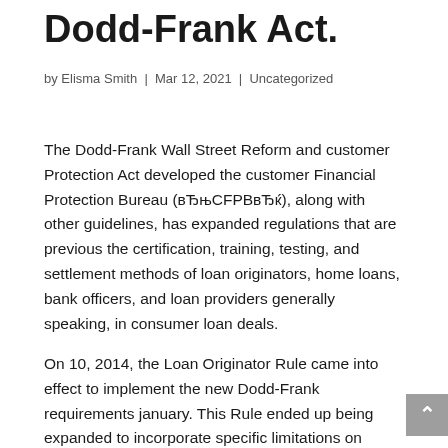Dodd-Frank Act.
by Elisma Smith | Mar 12, 2021 | Uncategorized
The Dodd-Frank Wall Street Reform and customer Protection Act developed the customer Financial Protection Bureau (вЂњCFPBвЂќ), along with other guidelines, has expanded regulations that are previous the certification, training, testing, and settlement methods of loan originators, home loans, bank officers, and loan providers generally speaking, in consumer loan deals.
On 10, 2014, the Loan Originator Rule came into effect to implement the new Dodd-Frank requirements january. This Rule ended up being expanded to incorporate specific limitations on seller-financing in domestic estate that is real in which the dwelling is